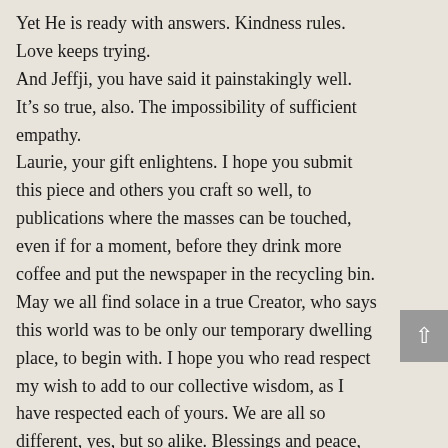Yet He is ready with answers. Kindness rules. Love keeps trying.
And Jeffji, you have said it painstakingly well. It's so true, also. The impossibility of sufficient empathy.
Laurie, your gift enlightens. I hope you submit this piece and others you craft so well, to publications where the masses can be touched, even if for a moment, before they drink more coffee and put the newspaper in the recycling bin.
May we all find solace in a true Creator, who says this world was to be only our temporary dwelling place, to begin with. I hope you who read respect my wish to add to our collective wisdom, as I have respected each of yours. We are all so different, yes, but so alike. Blessings and peace, Ruby
39.